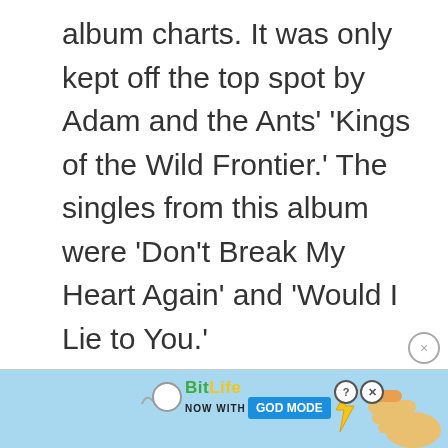album charts. It was only kept off the top spot by Adam and the Ants' ‘Kings of the Wild Frontier.’ The singles from this album were ‘Don’t Break My Heart Again’ and ‘Would I Lie to You.’
[Figure (other): BitLife advertisement banner with 'NOW WITH GOD MODE' text, lightning bolt graphic, and pointing hand illustration on a light blue background]